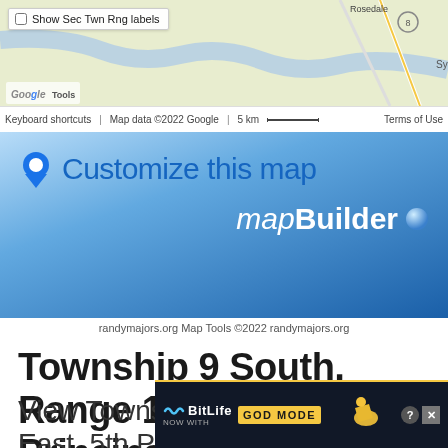[Figure (map): Google Maps screenshot showing a map area near Rosedale with roads and terrain, with a checkbox for 'Show Sec Twn Rng labels', scale bar showing 5 km, and Google map attribution bar.]
[Figure (screenshot): mapBuilder banner with 'Customize this map' in blue text with a location pin icon, and 'mapBuilder' branding with a blue sphere on a blue gradient background.]
randymajors.org Map Tools ©2022 randymajors.org
Township 9 South, Range 1 East, 5th Principal Meridian, Mississippi
View Township 9 South, Range 1 East, 5th Principal Meridian, Mississippi on Tow
[Figure (screenshot): BitLife advertisement overlay: 'BitLife NOW WITH GOD MODE' ad banner with dark background, yellow lightning bolt, and close/help buttons.]